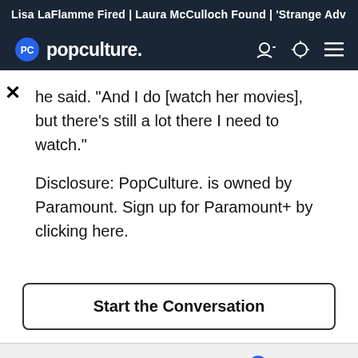Lisa LaFlamme Fired | Laura McCulloch Found | 'Strange Adv
[Figure (logo): PopCulture logo with PC icon in blue circle, white text 'popculture.' on dark navy background, with user, theme toggle, and menu icons on right]
he said. "And I do [watch her movies], but there's still a lot there I need to watch."
Disclosure: PopCulture. is owned by Paramount. Sign up for Paramount+ by clicking here.
Start the Conversation
popculture.